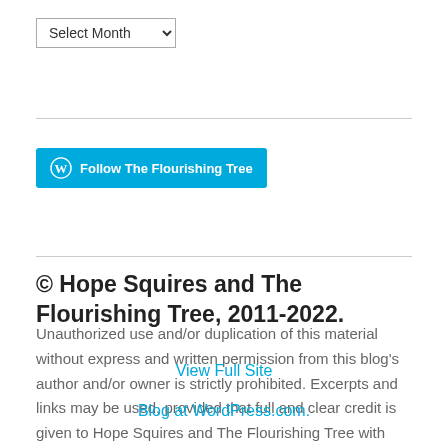Select Month (dropdown)
[Figure (other): Follow The Flourishing Tree button with WordPress logo]
© Hope Squires and The Flourishing Tree, 2011-2022.
Unauthorized use and/or duplication of this material without express and written permission from this blog's author and/or owner is strictly prohibited. Excerpts and links may be used, provided that full and clear credit is given to Hope Squires and The Flourishing Tree with appropriate and specific direction to the original content.
View Full Site
Blog at WordPress.com.